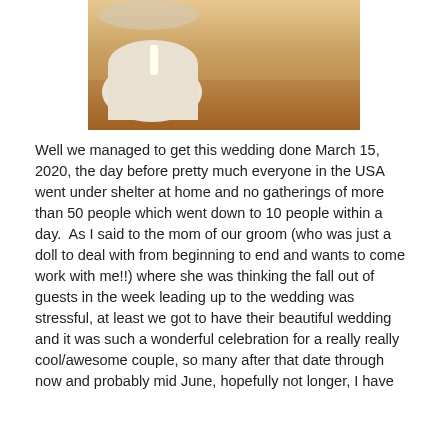[Figure (photo): Indoor wedding venue photo showing a decorated round table with white tablecloth, candles, and floral arrangement on a wooden dance floor]
Well we managed to get this wedding done March 15, 2020, the day before pretty much everyone in the USA went under shelter at home and no gatherings of more than 50 people which went down to 10 people within a day.  As I said to the mom of our groom (who was just a doll to deal with from beginning to end and wants to come work with me!!) where she was thinking the fall out of guests in the week leading up to the wedding was stressful, at least we got to have their beautiful wedding and it was such a wonderful celebration for a really really cool/awesome couple, so many after that date through now and probably mid June, hopefully not longer, I have